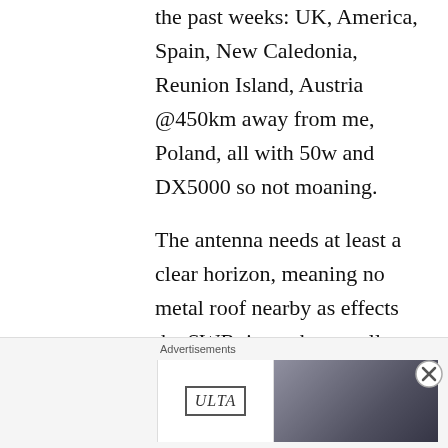the past weeks: UK, America, Spain, New Caledonia, Reunion Island, Austria @450km away from me, Poland, all with 50w and DX5000 so not moaning.
The antenna needs at least a clear horizon, meaning no metal roof nearby as effects the SWR, it can hear well, seems to take the storms here also.
SO, yes take a look at
[Figure (photo): Ulta beauty advertisement banner with makeup images (lips, brush, eye, Ulta logo, eyes, shop now button)]